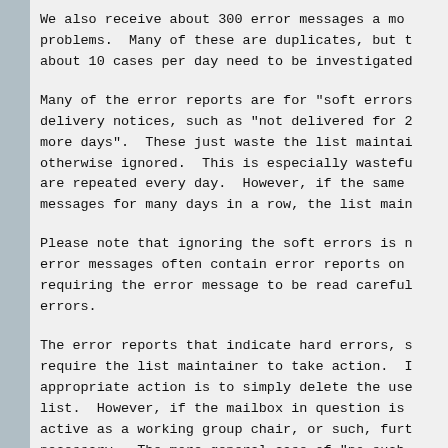We also receive about 300 error messages a month reporting problems. Many of these are duplicates, but the actual number about 10 cases per day need to be investigated.
Many of the error reports are for "soft errors" such as non-delivery notices, such as "not delivered for 2 days, will try 3 more days". These just waste the list maintainer's time and are otherwise ignored. This is especially wasteful when the errors are repeated every day. However, if the same address generates messages for many days in a row, the list maintainer should act.
Please note that ignoring the soft errors is not always safe: error messages often contain error reports on multiple addresses, requiring the error message to be read carefully to find the hard errors.
The error reports that indicate hard errors, such as user unknown, require the list maintainer to take action. In most cases, the appropriate action is to simply delete the user's address from the list. However, if the mailbox in question is someone who is very active as a working group chair, or such, further investigation is necessary. The more general case of "no such